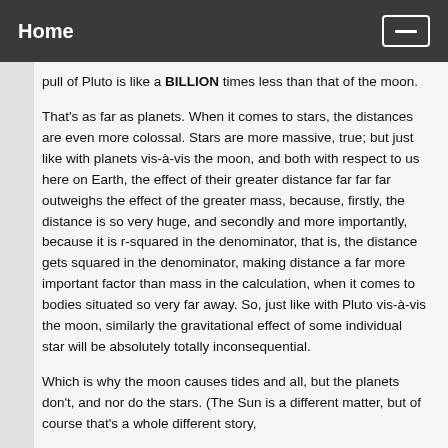Home
pull of Pluto is like a BILLION times less than that of the moon.
That's as far as planets. When it comes to stars, the distances are even more colossal. Stars are more massive, true; but just like with planets vis-à-vis the moon, and both with respect to us here on Earth, the effect of their greater distance far far far outweighs the effect of the greater mass, because, firstly, the distance is so very huge, and secondly and more importantly, because it is r-squared in the denominator, that is, the distance gets squared in the denominator, making distance a far more important factor than mass in the calculation, when it comes to bodies situated so very far away. So, just like with Pluto vis-à-vis the moon, similarly the gravitational effect of some individual star will be absolutely totally inconsequential.
Which is why the moon causes tides and all, but the planets don't, and nor do the stars. (The Sun is a different matter, but of course that's a whole different story,